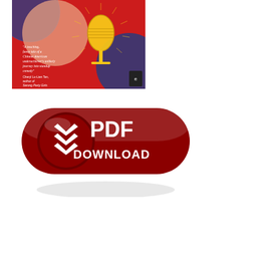[Figure (illustration): Book cover for 'No Good Very Bad Asian' by Leland Cheuk. Red background with decorative circular patterns in blue, gold microphone graphic, and a quote from Cheryl Lu-Lien Tan, author of Sarong Party Girls. Small publisher logo in bottom right corner.]
[Figure (illustration): Large red glossy capsule-shaped PDF Download button with white chevron download icon on the left and bold white text reading 'PDF DOWNLOAD' on the right.]
No Good Very Bad Asian
Leland Cheuk
Page: 250